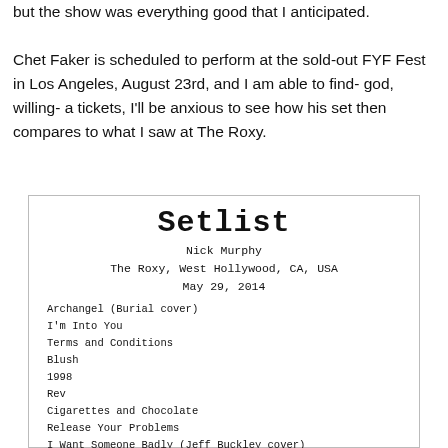but the show was everything good that I anticipated.
Chet Faker is scheduled to perform at the sold-out FYF Fest in Los Angeles, August 23rd, and I am able to find- god, willing- a tickets, I'll be anxious to see how his set then compares to what I saw at The Roxy.
[Figure (other): Setlist image for Nick Murphy at The Roxy, West Hollywood, CA, USA, May 29, 2014. Songs listed: Archangel (Burial cover), I'm Into You, Terms and Conditions, Blush, 1998, Rev, Cigarettes and Chocolate, Release Your Problems, I Want Someone Badly (Jeff Buckley cover), Love and Feeling.]